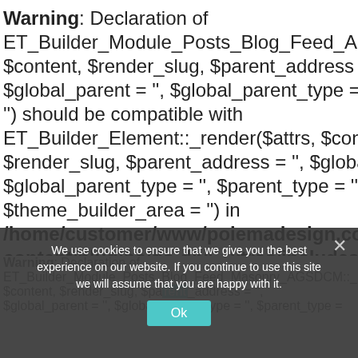Warning: Declaration of ET_Builder_Module_Posts_Blog_Feed_AGSDCM::_render($attrs, $content, $render_slug, $parent_address = '', $global_parent = '', $global_parent_type = '', $parent_type = '') should be compatible with ET_Builder_Element::_render($attrs, $content, $render_slug, $parent_address = '', $global_parent = '', $global_parent_type = '', $parent_type = '', $theme_builder_area = '') in /home/customer/www/poiemadesign.com/public_html/wp-content/plugins/ds-divi-extras/includes/modules.php on line 6566
We use cookies to ensure that we give you the best experience on our website. If you continue to use this site we will assume that you are happy with it.
Warning: Declaration of ET_Builder_Module_Posts_Blog_Feed_Masonry_AGSDCM::_render($attrs, $content, $render_slug, $parent_address = '', $global_parent = '', $global_parent_type = '',